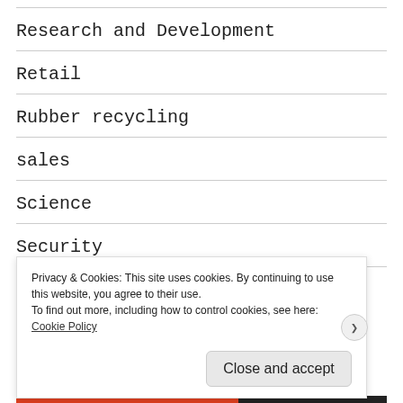Research and Development
Retail
Rubber recycling
sales
Science
Security
Spiritual Services
Privacy & Cookies: This site uses cookies. By continuing to use this website, you agree to their use.
To find out more, including how to control cookies, see here: Cookie Policy
Close and accept